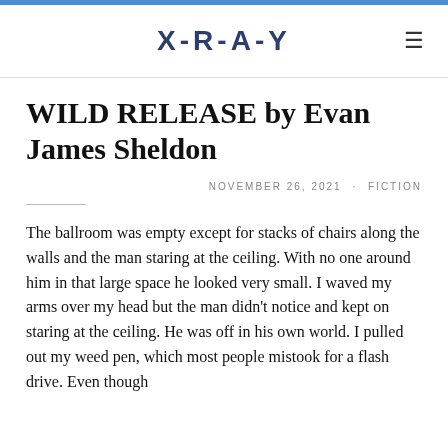X-R-A-Y
WILD RELEASE by Evan James Sheldon
NOVEMBER 26, 2021 · FICTION
The ballroom was empty except for stacks of chairs along the walls and the man staring at the ceiling. With no one around him in that large space he looked very small. I waved my arms over my head but the man didn't notice and kept on staring at the ceiling. He was off in his own world. I pulled out my weed pen, which most people mistook for a flash drive. Even though